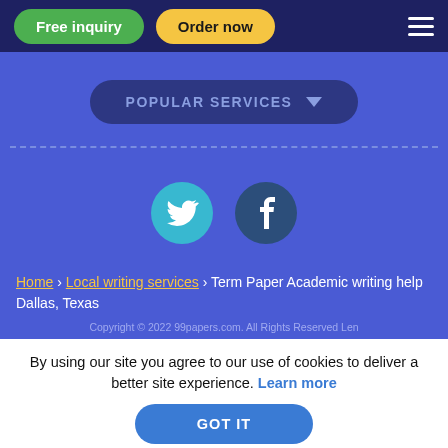Free inquiry | Order now
POPULAR SERVICES
[Figure (illustration): Twitter and Facebook social media icon circles]
Home › Local writing services › Term Paper Academic writing help Dallas, Texas
Copyright © 2022 99papers.com. All Rights Reserved Len
By using our site you agree to our use of cookies to deliver a better site experience. Learn more
GOT IT